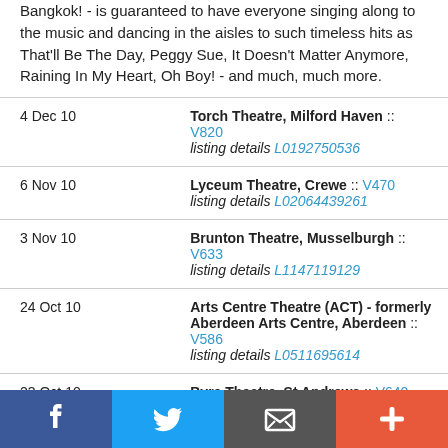Bangkok! - is guaranteed to have everyone singing along to the music and dancing in the aisles to such timeless hits as That'll Be The Day, Peggy Sue, It Doesn't Matter Anymore, Raining In My Heart, Oh Boy! - and much, much more.
| Date | Venue |
| --- | --- |
| 4 Dec 10 | Torch Theatre, Milford Haven :: V820 listing details L0192750536 |
| 6 Nov 10 | Lyceum Theatre, Crewe :: V470 listing details L02064439261 |
| 3 Nov 10 | Brunton Theatre, Musselburgh :: V633 listing details L1147119129 |
| 24 Oct 10 | Arts Centre Theatre (ACT) - formerly Aberdeen Arts Centre, Aberdeen :: V586 listing details L0511695614 |
| 23 Oct 10 | Byre Theatre, St Andrews :: V640 listing details L43008575 |
| 8 Oct 10 | The Broadway Theatre, Outer ... |
[Figure (other): Social sharing bar with Facebook, Twitter, Email, and Plus/Add buttons]